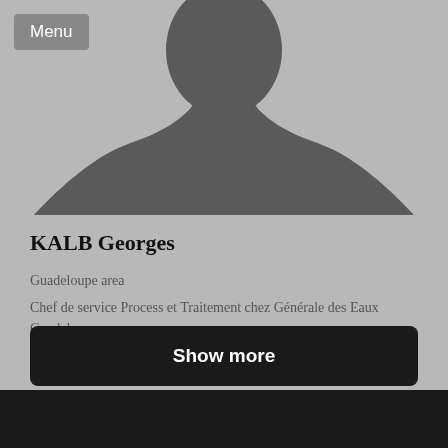Menu
[Figure (illustration): Generic grey silhouette placeholder avatar showing head and shoulders of a person, on a light grey background]
KALB Georges
Guadeloupe area
Chef de service Process et Traitement chez Générale des Eaux Guadeloupe
Renewables & Environment
Show more